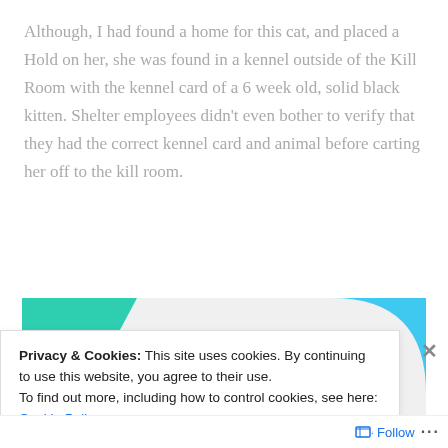Although, I had found a home for this cat, and placed a Hold on her, she was found in a kennel outside of the Kill Room with the kennel card of a 6 week old, solid black kitten. Shelter employees didn't even bother to verify that they had the correct kennel card and animal before carting her off to the kill room.
[Figure (infographic): Advertisement banner with light gray background, green triangular shape top-left, blue curved shape top-right, bold text reading 'How to start selling subscriptions online']
Privacy & Cookies: This site uses cookies. By continuing to use this website, you agree to their use.
To find out more, including how to control cookies, see here: Cookie Policy
Close and accept
Follow ...